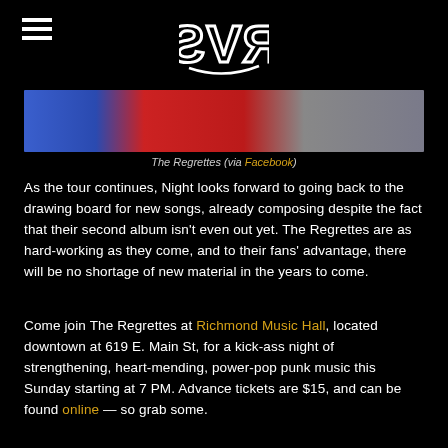RVS (logo)
[Figure (photo): Cropped photo of The Regrettes showing band members in colorful clothing — blue, red, and grey tones]
The Regrettes (via Facebook)
As the tour continues, Night looks forward to going back to the drawing board for new songs, already composing despite the fact that their second album isn't even out yet. The Regrettes are as hard-working as they come, and to their fans' advantage, there will be no shortage of new material in the years to come.
Come join The Regrettes at Richmond Music Hall, located downtown at 619 E. Main St, for a kick-ass night of strengthening, heart-mending, power-pop punk music this Sunday starting at 7 PM. Advance tickets are $15, and can be found online — so grab some.